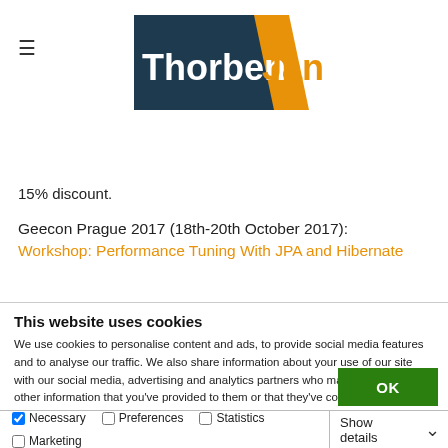Thorben Janssen
15% discount.
Geecon Prague 2017 (18th-20th October 2017): Workshop: Performance Tuning With JPA and Hibernate
This website uses cookies
We use cookies to personalise content and ads, to provide social media features and to analyse our traffic. We also share information about your use of our site with our social media, advertising and analytics partners who may combine it with other information that you've provided to them or that they've collected from your use of their services. You consent to our cookies if you continue to use our website.
OK
Necessary  Preferences  Statistics  Marketing  Show details